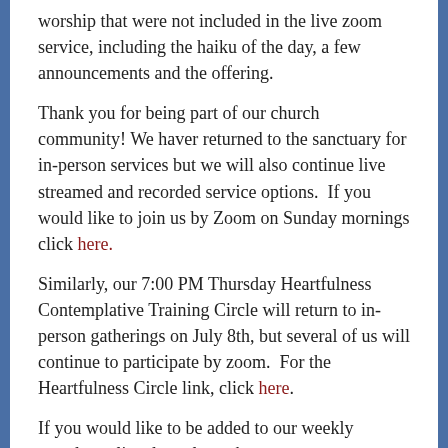worship that were not included in the live zoom service, including the haiku of the day, a few announcements and the offering.
Thank you for being part of our church community! We haver returned to the sanctuary for in-person services but we will also continue live streamed and recorded service options.  If you would like to join us by Zoom on Sunday mornings click here.
Similarly, our 7:00 PM Thursday Heartfulness Contemplative Training Circle will return to in-person gatherings on July 8th, but several of us will continue to participate by zoom.  For the Heartfulness Circle link, click here.
If you would like to be added to our weekly newsletter list please let us know at unitedchurchofstrafford@gmail.com